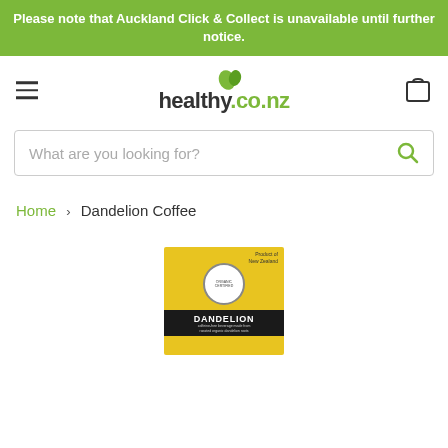Please note that Auckland Click & Collect is unavailable until further notice.
[Figure (logo): healthy.co.nz logo with green leaf icon]
[Figure (other): Search bar with placeholder text 'What are you looking for?' and green search icon]
Home › Dandelion Coffee
[Figure (photo): Dandelion Coffee product box - yellow packaging with DANDELION text on black band, organic certification seal, text reading 'Product of New Zealand']